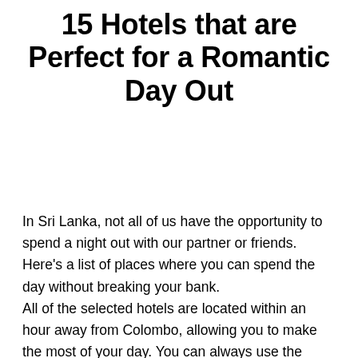15 Hotels that are Perfect for a Romantic Day Out
In Sri Lanka, not all of us have the opportunity to spend a night out with our partner or friends. Here's a list of places where you can spend the day without breaking your bank.
All of the selected hotels are located within an hour away from Colombo, allowing you to make the most of your day. You can always use the expressways for a hassle-free drive as well.
All the rates are either for a base category double